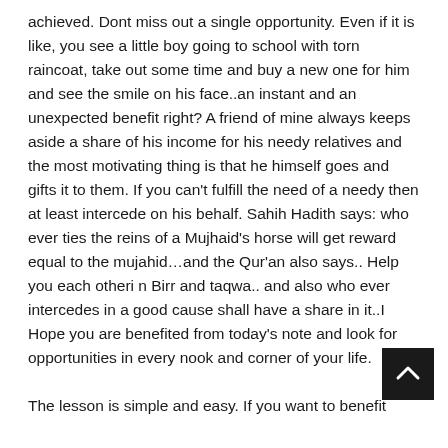achieved. Dont miss out a single opportunity. Even if it is like, you see a little boy going to school with torn raincoat, take out some time and buy a new one for him and see the smile on his face..an instant and an unexpected benefit right? A friend of mine always keeps aside a share of his income for his needy relatives and the most motivating thing is that he himself goes and gifts it to them. If you can't fulfill the need of a needy then at least intercede on his behalf. Sahih Hadith says: who ever ties the reins of a Mujhaid's horse will get reward equal to the mujahid…and the Qur'an also says.. Help you each otheri n Birr and taqwa.. and also who ever intercedes in a good cause shall have a share in it..I Hope you are benefited from today's note and look for opportunities in every nook and corner of your life.
The lesson is simple and easy. If you want to benefit